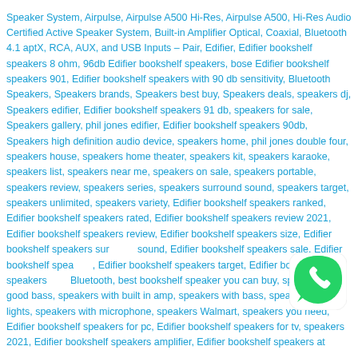Speaker System, Airpulse, Airpulse A500 Hi-Res, Airpulse A500, Hi-Res Audio Certified Active Speaker System, Built-in Amplifier Optical, Coaxial, Bluetooth 4.1 aptX, RCA, AUX, and USB Inputs – Pair, Edifier, Edifier bookshelf speakers 8 ohm, 96db Edifier bookshelf speakers, bose Edifier bookshelf speakers 901, Edifier bookshelf speakers with 90 db sensitivity, Bluetooth Speakers, Speakers brands, Speakers best buy, Speakers deals, speakers dj, Speakers edifier, Edifier bookshelf speakers 91 db, speakers for sale, Speakers gallery, phil jones edifier, Edifier bookshelf speakers 90db, Speakers high definition audio device, speakers home, phil jones double four, speakers house, speakers home theater, speakers kit, speakers karaoke, speakers list, speakers near me, speakers on sale, speakers portable, speakers review, speakers series, speakers surround sound, speakers target, speakers unlimited, speakers variety, Edifier bookshelf speakers ranked, Edifier bookshelf speakers rated, Edifier bookshelf speakers review 2021, Edifier bookshelf speakers review, Edifier bookshelf speakers size, Edifier bookshelf speakers surround sound, Edifier bookshelf speakers sale, Edifier bookshelf speakers, Edifier bookshelf speakers target, Edifier bookshelf speakers with Bluetooth, best bookshelf speaker you can buy, speakers with good bass, speakers with built in amp, speakers with bass, speakers with lights, speakers with microphone, speakers Walmart, speakers you need, Edifier bookshelf speakers for pc, Edifier bookshelf speakers for tv, speakers 2021, Edifier bookshelf speakers amplifier, Edifier bookshelf speakers at
[Figure (illustration): WhatsApp logo icon — green speech bubble with white phone handset graphic]